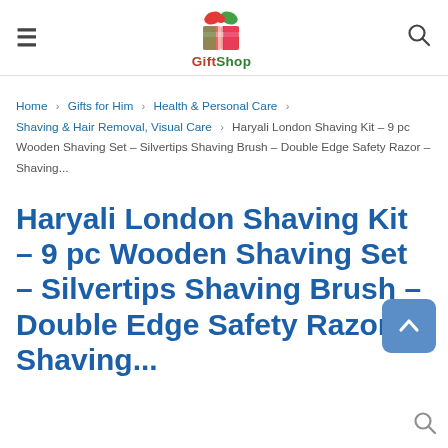GiftShop [logo with hamburger menu and search icon]
Home > Gifts for Him > Health & Personal Care > Shaving & Hair Removal, Visual Care > Haryali London Shaving Kit – 9 pc Wooden Shaving Set – Silvertips Shaving Brush – Double Edge Safety Razor – Shaving...
Haryali London Shaving Kit – 9 pc Wooden Shaving Set – Silvertips Shaving Brush – Double Edge Safety Razor – Shaving...